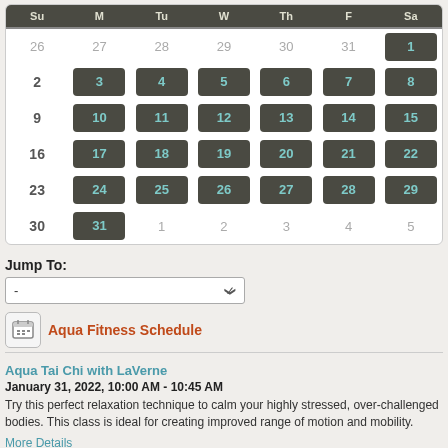| Su | M | Tu | W | Th | F | Sa |
| --- | --- | --- | --- | --- | --- | --- |
| 26 | 27 | 28 | 29 | 30 | 31 | 1 |
| 2 | 3 | 4 | 5 | 6 | 7 | 8 |
| 9 | 10 | 11 | 12 | 13 | 14 | 15 |
| 16 | 17 | 18 | 19 | 20 | 21 | 22 |
| 23 | 24 | 25 | 26 | 27 | 28 | 29 |
| 30 | 31 | 1 | 2 | 3 | 4 | 5 |
Jump To:
-
Aqua Fitness Schedule
Aqua Tai Chi with LaVerne
January 31, 2022, 10:00 AM - 10:45 AM
Try this perfect relaxation technique to calm your highly stressed, over-challenged bodies. This class is ideal for creating improved range of motion and mobility.
More Details